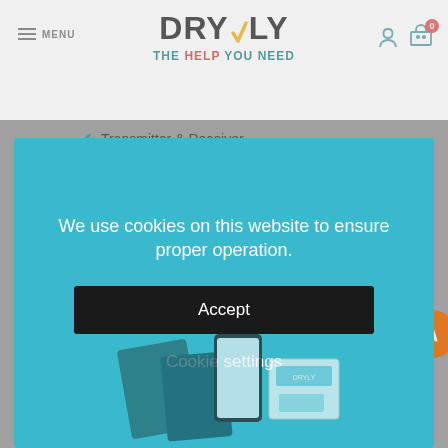DRYLY - The Help You Need
Transmitter & Receiver
Wizzu (panda soft toy)
Dryly® mobile app
We use cookies on this website to ensure proper operation.
Accept
Cookie settings
[Figure (photo): Product photo showing Dryly device kit components including boxes and a smartphone]